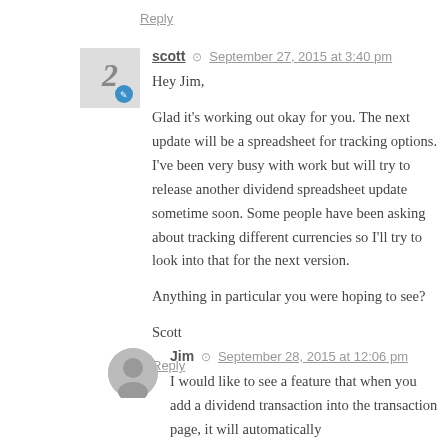Reply
scott  September 27, 2015 at 3:40 pm
Hey Jim,

Glad it's working out okay for you. The next update will be a spreadsheet for tracking options. I've been very busy with work but will try to release another dividend spreadsheet update sometime soon. Some people have been asking about tracking different currencies so I'll try to look into that for the next version.

Anything in particular you were hoping to see?

Scott
Reply
Jim  September 28, 2015 at 12:06 pm
I would like to see a feature that when you add a dividend transaction into the transaction page, it will automatically